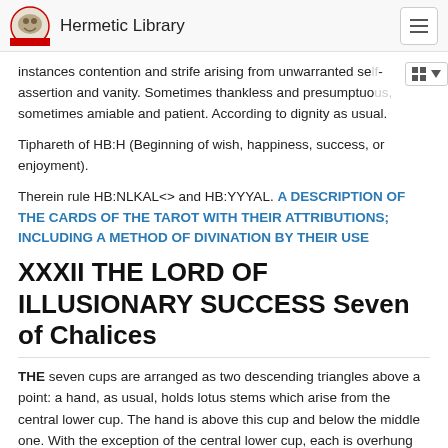Hermetic Library
instances contention and strife arising from unwarranted self-assertion and vanity. Sometimes thankless and presumptuous, sometimes amiable and patient. According to dignity as usual.
Tiphareth of HB:H (Beginning of wish, happiness, success, or enjoyment).
Therein rule HB:NLKAL<> and HB:YYYAL. A DESCRIPTION OF THE CARDS OF THE TAROT WITH THEIR ATTRIBUTIONS; INCLUDING A METHOD OF DIVINATION BY THEIR USE
XXXII THE LORD OF ILLUSIONARY SUCCESS Seven of Chalices
THE seven cups are arranged as two descending triangles above a point: a hand, as usual, holds lotus stems which arise from the central lower cup. The hand is above this cup and below the middle one. With the exception of the central lower cup, each is overhung by a lotus flower, but no water falls from these into any of the cups, which are all